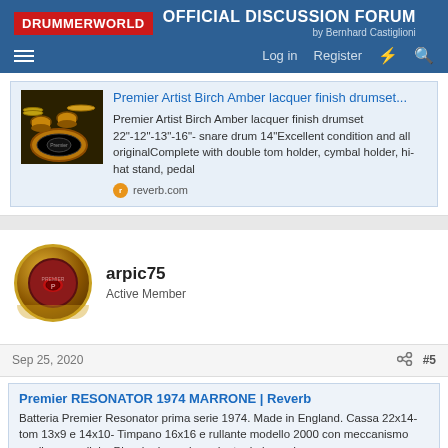DRUMMERWORLD OFFICIAL DISCUSSION FORUM by Bernhard Castiglioni
[Figure (screenshot): Link preview card with drum kit image thumbnail for Premier Artist Birch Amber lacquer finish drumset listing on reverb.com]
Premier Artist Birch Amber lacquer finish drumset 22"-12"-13"-16"- snare drum 14"Excellent condition and all originalComplete with double tom holder, cymbal holder, hi-hat stand, pedal
reverb.com
arpic75
Active Member
Sep 25, 2020
#5
Premier RESONATOR 1974 MARRONE | Reverb
Batteria Premier Resonator prima serie 1974. Made in England. Cassa 22x14-tom 13x9 e 14x10- Timpano 16x16 e rullante modello 2000 con meccanismo cordiera parallela. Piccola riparazione dentro la bass drum.
reverb.com